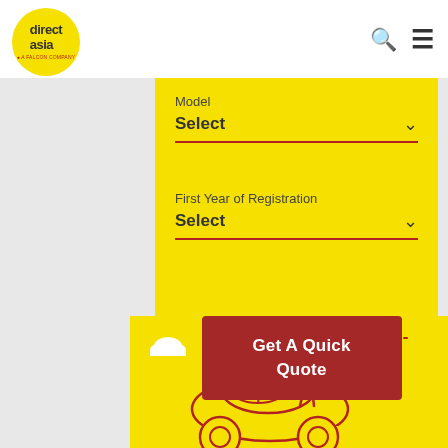[Figure (logo): Direct Asia logo — yellow circle with 'direct asia' text and 'A FALCON COMPANY' tagline in red]
Model
Select
First Year of Registration
Select
Get A Quick Quote
[Figure (illustration): Cartoon illustration of a person standing next to a yellow car, with clouds and a sun in the background on a yellow background]